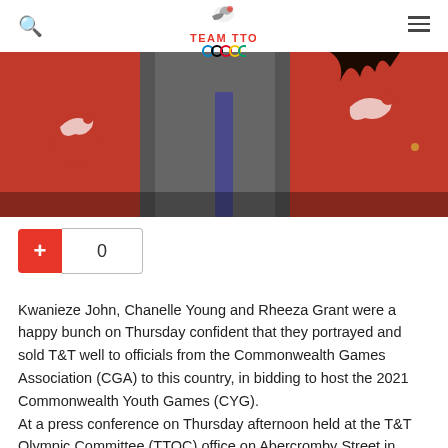TEAM TTO
[Figure (photo): Group photo showing people wearing red Team TTO shirts and one person in a grey suit with a tie]
+ 0
Kwanieze John, Chanelle Young and Rheeza Grant were a happy bunch on Thursday confident that they portrayed and sold T&T well to officials from the Commonwealth Games Association (CGA) to this country, in bidding to host the 2021 Commonwealth Youth Games (CYG).
At a press conference on Thursday afternoon held at the T&T Olympic Committee (TTOC) office on Abercromby Street in Port-of-Spain, the media was given a report of T&T's bid...